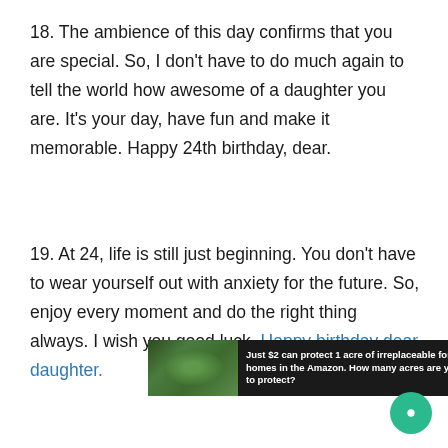18. The ambience of this day confirms that you are special. So, I don't have to do much again to tell the world how awesome of a daughter you are. It's your day, have fun and make it memorable. Happy 24th birthday, dear.
19. At 24, life is still just beginning. You don't have to wear yourself out with anxiety for the future. So, enjoy every moment and do the right thing always. I wish you good luck. Happy birthday dear daughter.
[Figure (other): Advertisement banner: forest/Amazon image on left, white text 'Just $2 can protect 1 acre of irreplaceable forest homes in the Amazon. How many acres are you willing to protect?' on dark background, blue button on right.]